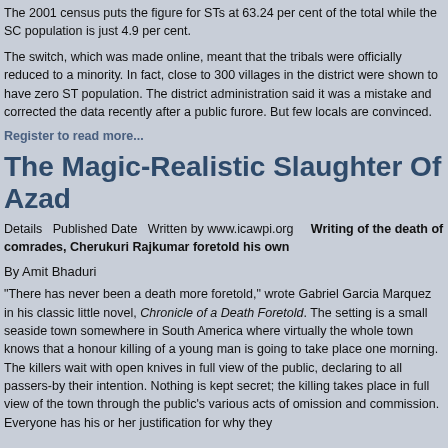The 2001 census puts the figure for STs at 63.24 per cent of the total while the SC population is just 4.9 per cent.
The switch, which was made online, meant that the tribals were officially reduced to a minority. In fact, close to 300 villages in the district were shown to have zero ST population. The district administration said it was a mistake and corrected the data recently after a public furore. But few locals are convinced.
Register to read more...
The Magic-Realistic Slaughter Of Azad
Details  Published Date   Written by www.icawpi.org      Writing of the death of comrades, Cherukuri Rajkumar foretold his own
By Amit Bhaduri
"There has never been a death more foretold," wrote Gabriel Garcia Marquez in his classic little novel, Chronicle of a Death Foretold. The setting is a small seaside town somewhere in South America where virtually the whole town knows that a honour killing of a young man is going to take place one morning. The killers wait with open knives in full view of the public, declaring to all passers-by their intention. Nothing is kept secret; the killing takes place in full view of the town through the public's various acts of omission and commission. Everyone has his or her justification for why they